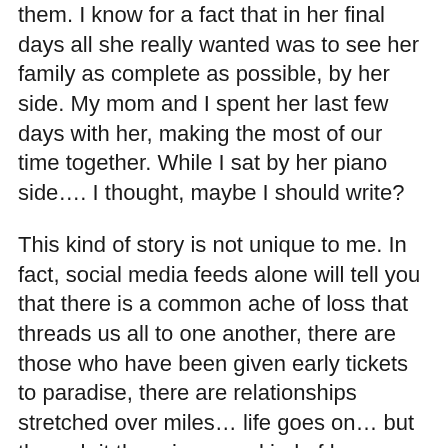them. I know for a fact that in her final days all she really wanted was to see her family as complete as possible, by her side. My mom and I spent her last few days with her, making the most of our time together. While I sat by her piano side…. I thought, maybe I should write?
This kind of story is not unique to me. In fact, social media feeds alone will tell you that there is a common ache of loss that threads us all to one another, there are those who have been given early tickets to paradise, there are relationships stretched over miles… life goes on… but through it there is a new kind of love, one strengthened by faith.
So I started to write again.